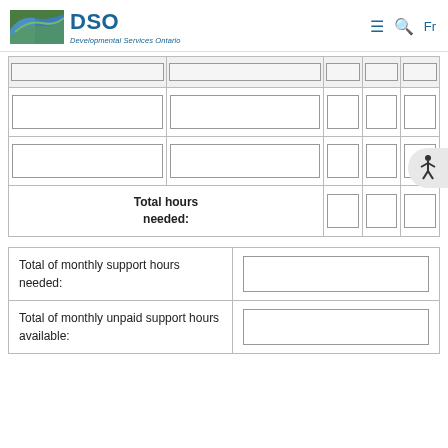DSO Developmental Services Ontario
| [box] | [box] | [box] | [box] | [box] |
| [box] | [box] | [box] | [box] | [box] |
| [box] | [box] | [box] | [box] | [box] |
| Total hours needed: |  | [box] | [box] | [box] |
| Total of monthly support hours needed: | [input] |
| Total of monthly unpaid support hours available: | [input] |